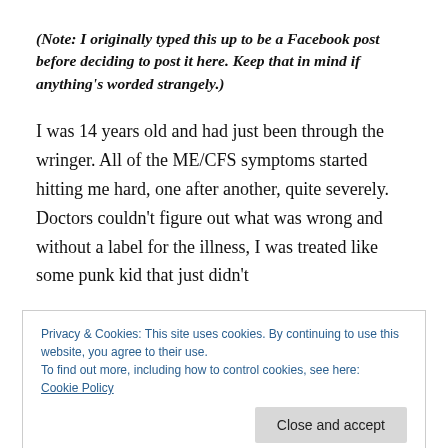(Note: I originally typed this up to be a Facebook post before deciding to post it here. Keep that in mind if anything's worded strangely.)
I was 14 years old and had just been through the wringer. All of the ME/CFS symptoms started hitting me hard, one after another, quite severely. Doctors couldn't figure out what was wrong and without a label for the illness, I was treated like some punk kid that just didn't
Privacy & Cookies: This site uses cookies. By continuing to use this website, you agree to their use.
To find out more, including how to control cookies, see here:
Cookie Policy
discovered masturbation until years later! With